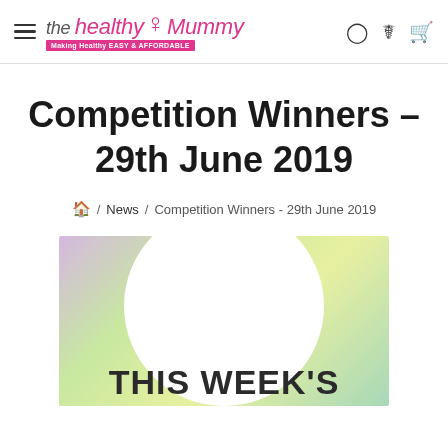the healthy Mummy — Making Healthy EASY & AFFORDABLE
Competition Winners – 29th June 2019
Home / News / Competition Winners - 29th June 2019
[Figure (illustration): Colorful gradient background with a white circle in the center and bold text reading THIS WEEK'S at the bottom]